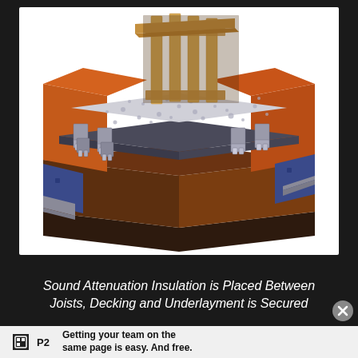[Figure (engineering-diagram): 3D isometric CAD rendering showing a building floor/ceiling assembly cross-section. The diagram depicts sound attenuation insulation (light gray loose-fill material) placed between floor joists. The assembly includes structural wood framing (light tan/beige studs visible at top), steel joist hangers (silver metal brackets), orange/brown wall and floor structure, blue rigid insulation panels visible on sides, and a dark underlayment/decking layer beneath the insulation. The view is cut-away to show interior components of the floor assembly.]
Sound Attenuation Insulation is Placed Between Joists, Decking and Underlayment is Secured